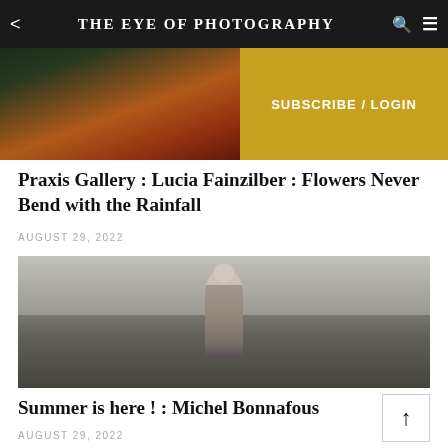THE EYE OF PHOTOGRAPHY
[Figure (photo): Partial image of person in orange/red clothing — top of article image, cropped]
SUBSCRIBE / LOGIN
Praxis Gallery : Lucia Fainzilber : Flowers Never Bend with the Rainfall
AUGUST 29, 2022
[Figure (photo): Black and white photograph of a young child in a coat standing outdoors on grass, holding something, with trees/shrubs in background]
Summer is here ! : Michel Bonnafous
AUGUST 29, 2022